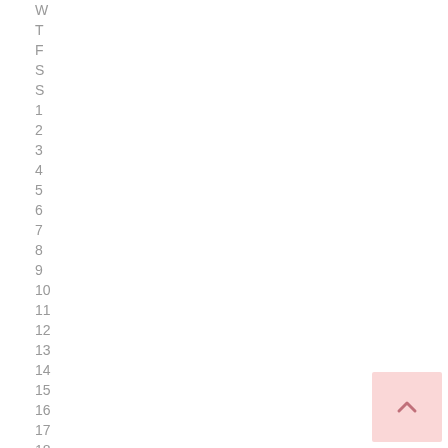W
T
F
S
S
1
2
3
4
5
6
7
8
9
10
11
12
13
14
15
16
17
18